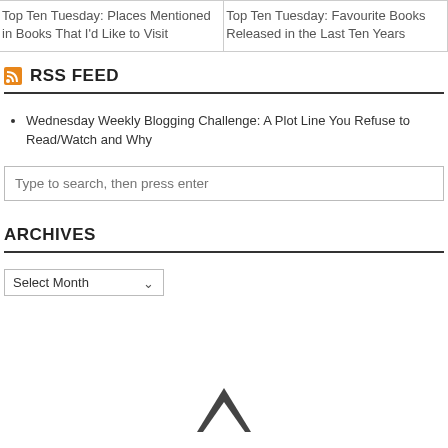|  |  |
| --- | --- |
| Top Ten Tuesday: Places Mentioned in Books That I'd Like to Visit | Top Ten Tuesday: Favourite Books Released in the Last Ten Years |
RSS FEED
Wednesday Weekly Blogging Challenge: A Plot Line You Refuse to Read/Watch and Why
Type to search, then press enter
ARCHIVES
Select Month